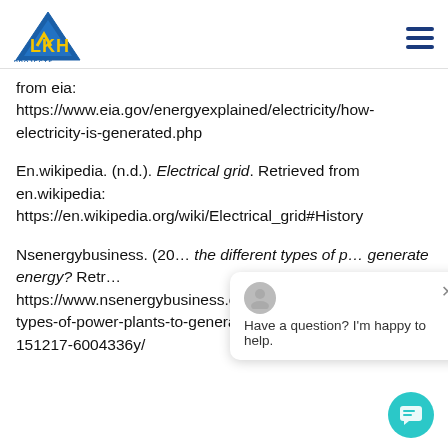LKH Projects Distribution logo and navigation
from eia: https://www.eia.gov/energyexplained/electricity/how-electricity-is-generated.php
En.wikipedia. (n.d.). Electrical grid. Retrieved from en.wikipedia: https://en.wikipedia.org/wiki/Electrical_grid#History
Nsenergybusiness. (20... the different types of p... generate energy? Retr... https://www.nsenergybusiness.com/features/newsma... types-of-power-plants-to-generate-energy... 151217-6004336y/
[Figure (other): Chat widget overlay with avatar, 'Have a question? I'm happy to help.' message, close button, and teal chat bubble button]